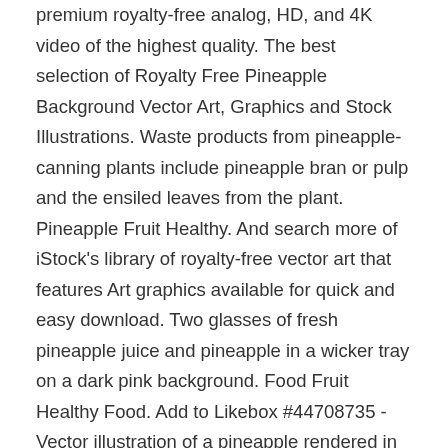premium royalty-free analog, HD, and 4K video of the highest quality. The best selection of Royalty Free Pineapple Background Vector Art, Graphics and Stock Illustrations. Waste products from pineapple-canning plants include pineapple bran or pulp and the ensiled leaves from the plant. Pineapple Fruit Healthy. And search more of iStock's library of royalty-free vector art that features Art graphics available for quick and easy download. Two glasses of fresh pineapple juice and pineapple in a wicker tray on a dark pink background. Food Fruit Healthy Food. Add to Likebox #44708735 - Vector illustration of a pineapple rendered in a geometric style. Cartoon exotic tropic fruits icons set. I created this FREE Pineapple Background using Adobe Illustrator while I was on the airplane on my way to New Mexico for Cousin Camp.It turned into such a fun desktop wall paper design, I knew I had to give it to you all! Retro abstract seamless pattern Wall Mural ✓ Easy Installation ✓ 365 Days to Return ✓ Browse other patterns from this collection! Pineapple is native to tropical and subtropical America and has been introduced elsewhere. Pineapple and slices isolated on white background with full depth of field. Be on the lookout for your Britannica newsletter to get trusted stories delivered right to your inbox. There are other fruit options too, by the way, if you